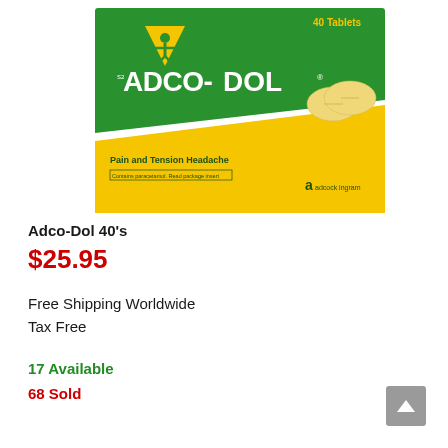[Figure (photo): Product photo of Adco-Dol 40 tablets box. Green and yellow packaging by adcock ingram. Shows brand name ADCO-DOL, yellow triangle logo with person graphic, two yellow tablets visible, text 'Pain and Tension Headache', '40 Tablets', 'Contains paracetamol. Read package insert'.]
Adco-Dol 40's
$25.95
Free Shipping Worldwide
Tax Free
17 Available
68 Sold